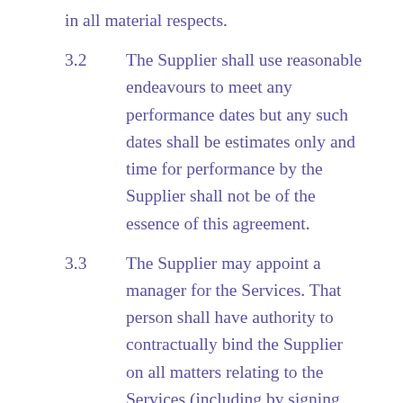in all material respects.
3.2      The Supplier shall use reasonable endeavours to meet any performance dates but any such dates shall be estimates only and time for performance by the Supplier shall not be of the essence of this agreement.
3.3      The Supplier may appoint a manager for the Services. That person shall have authority to contractually bind the Supplier on all matters relating to the Services (including by signing Change Orders). The Supplier shall use all reasonable endeavours to ensure that the same person acts as the Supplier’s manager throughout the term of this agreement, but may